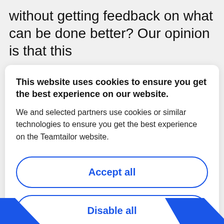without getting feedback on what can be done better? Our opinion is that this
This website uses cookies to ensure you get the best experience on our website. We and selected partners use cookies or similar technologies to ensure you get the best experience on the Teamtailor website.
Accept all
Disable all
Cookie preferences